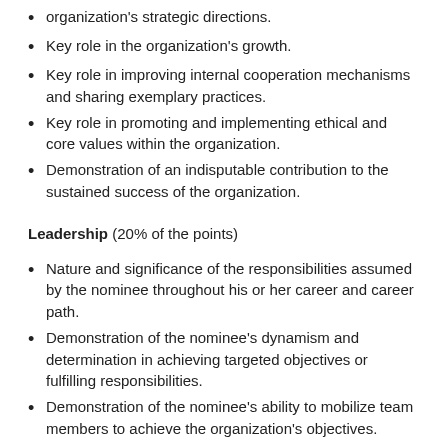organization's strategic directions.
Key role in the organization's growth.
Key role in improving internal cooperation mechanisms and sharing exemplary practices.
Key role in promoting and implementing ethical and core values within the organization.
Demonstration of an indisputable contribution to the sustained success of the organization.
Leadership (20% of the points)
Nature and significance of the responsibilities assumed by the nominee throughout his or her career and career path.
Demonstration of the nominee's dynamism and determination in achieving targeted objectives or fulfilling responsibilities.
Demonstration of the nominee's ability to mobilize team members to achieve the organization's objectives.
Service to the profession (10% of the points)